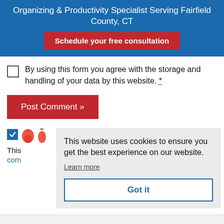Organizing & Productivity Specialist Serving Fairfield County, CT
Schedule your free consultation
By using this form you agree with the storage and handling of your data by this website. *
Post Comment »
[Figure (screenshot): Blue checkbox checked, two partial flame/icon images partially visible]
This website uses cookies to ensure you get the best experience on our website.
Learn more
Got it